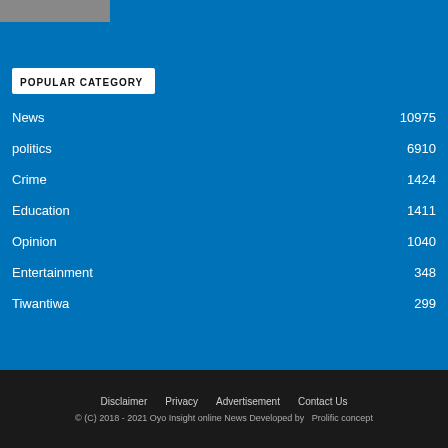[Figure (photo): Partial photo strip showing people at the top left corner]
POPULAR CATEGORY
News 10975
politics 6910
Crime 1424
Education 1411
Opinion 1040
Entertainment 348
Tiwantiwa 299
Disclaimer   Privacy   Advertisement   Contact Us
© (C) 2018 - 2021 Oyo Insight online News Developed by   Prolific concept